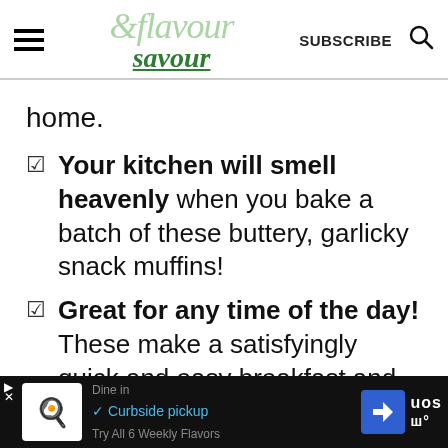& flavour savour — SUBSCRIBE
home.
Your kitchen will smell heavenly when you bake a batch of these buttery, garlicky snack muffins!
Great for any time of the day! These make a satisfyingly quick and easy breakfast and
Dine in  ✓ Curbside pickup  Try All 6 Weekly Flavors